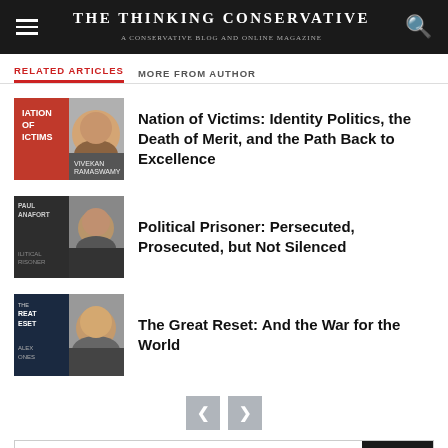The Thinking Conservative
RELATED ARTICLES   MORE FROM AUTHOR
Nation of Victims: Identity Politics, the Death of Merit, and the Path Back to Excellence
Political Prisoner: Persecuted, Prosecuted, but Not Silenced
The Great Reset: And the War for the World